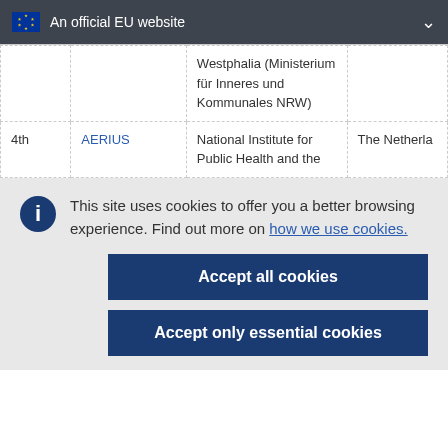An official EU website
|  |  | Westphalia (Ministerium für Inneres und Kommunales NRW) |  |
| 4th | AERIUS | National Institute for Public Health and the | The Netherla… |
This site uses cookies to offer you a better browsing experience. Find out more on how we use cookies.
Accept all cookies
Accept only essential cookies